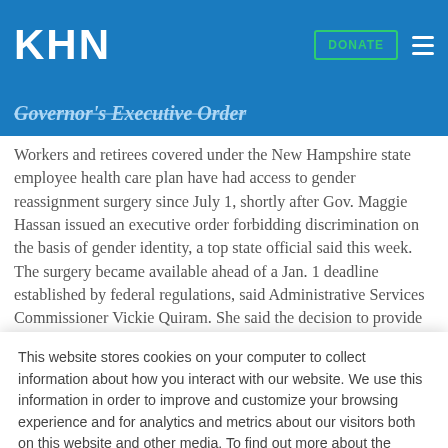KHN
Governor's Executive Order
Workers and retirees covered under the New Hampshire state employee health care plan have had access to gender reassignment surgery since July 1, shortly after Gov. Maggie Hassan issued an executive order forbidding discrimination on the basis of gender identity, a top state official said this week. The surgery became available ahead of a Jan. 1 deadline established by federal regulations, said Administrative Services Commissioner Vickie Quiram. She said the decision to provide early coverage was based upon Hassan's executive order and
This website stores cookies on your computer to collect information about how you interact with our website. We use this information in order to improve and customize your browsing experience and for analytics and metrics about our visitors both on this website and other media. To find out more about the cookies we use, see our Privacy Policy.